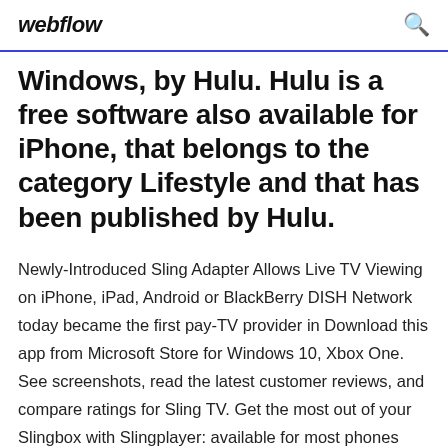webflow
Windows, by Hulu. Hulu is a free software also available for iPhone, that belongs to the category Lifestyle and that has been published by Hulu.
Newly-Introduced Sling Adapter Allows Live TV Viewing on iPhone, iPad, Android or BlackBerry DISH Network today became the first pay-TV provider in Download this app from Microsoft Store for Windows 10, Xbox One. See screenshots, read the latest customer reviews, and compare ratings for Sling TV. Get the most out of your Slingbox with Slingplayer: available for most phones and tablets, streamers, and